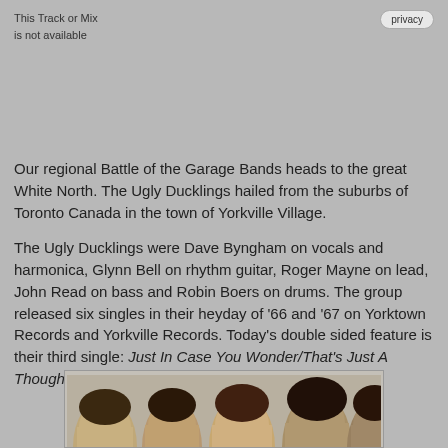This Track or Mix
is not available
privacy
Our regional Battle of the Garage Bands heads to the great White North. The Ugly Ducklings hailed from the suburbs of Toronto Canada in the town of Yorkville Village.
The Ugly Ducklings were Dave Byngham on vocals and harmonica, Glynn Bell on rhythm guitar, Roger Mayne on lead, John Read on bass and Robin Boers on drums. The group released six singles in their heyday of '66 and '67 on Yorktown Records and Yorkville Records. Today's double sided feature is their third single: Just In Case You Wonder/That's Just A Thought I Has In My Mind.
[Figure (photo): Black and white photograph showing the heads of four members of the Ugly Ducklings band, partially visible at the bottom of the page.]